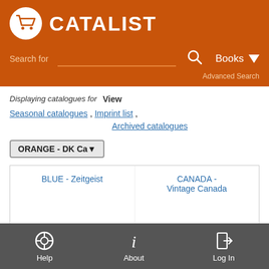CATALIST
Search for
Books
Advanced Search
Displaying catalogues for  View  Seasonal catalogues ,  Imprint list ,  Archived catalogues
ORANGE - DK Ca
BLUE - Zeitgeist
CANADA - Vintage Canada
CORPORATE - Outlook Canada
[Figure (illustration): Book with NO IMAGE AVAILABLE text overlay]
Disney Publishing Group
Help  About  Log In